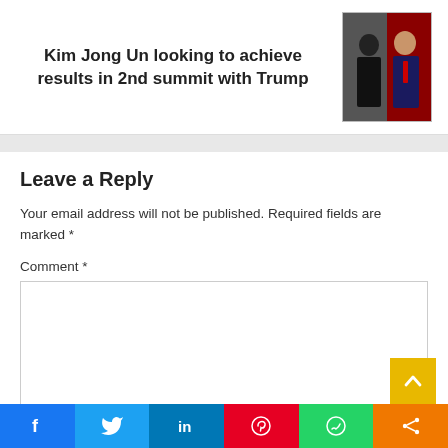Kim Jong Un looking to achieve results in 2nd summit with Trump
[Figure (photo): Photo of Kim Jong Un and Trump standing together]
Leave a Reply
Your email address will not be published. Required fields are marked *
Comment *
[Figure (other): Comment text area input box]
[Figure (infographic): Social share bar with Facebook, Twitter, LinkedIn, Pinterest, WhatsApp, and share buttons]